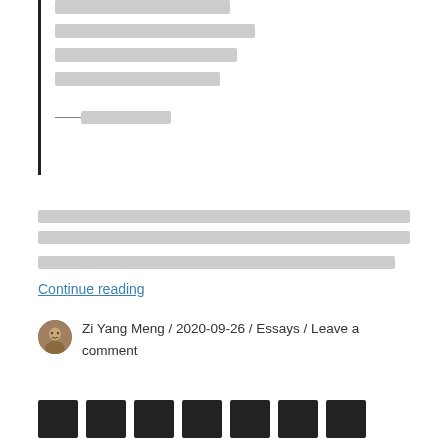[blockquote with Chinese characters — lines of text inside a left-bordered blockquote, with attribution line starting with em-dashes]
[Two lines of Chinese body text followed by a Continue reading link]
Continue reading
Zi Yang Meng / 2020-09-26 / Essays / Leave a comment
[Chinese section title — 7 characters rendered as boxes]